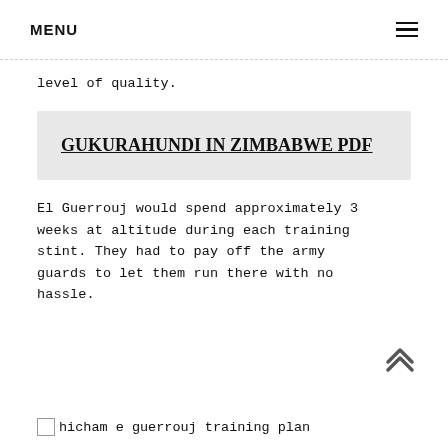MENU
level of quality.
GUKURAHUNDI IN ZIMBABWE PDF
El Guerrouj would spend approximately 3 weeks at altitude during each training stint. They had to pay off the army guards to let them run there with no hassle.
hicham e guerrouj training plan